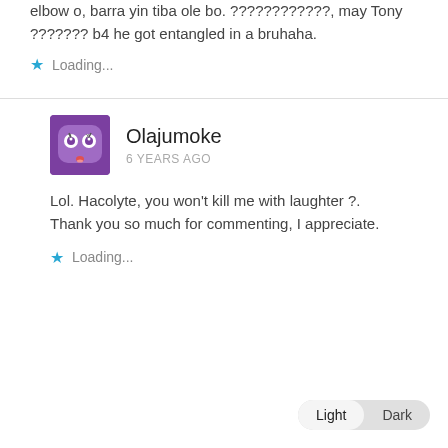elbow o, barra yin tiba ole bo. ????????????, may Tony ??????? b4 he got entangled in a bruhaha.
Loading...
Olajumoke
6 YEARS AGO
Lol. Hacolyte, you won't kill me with laughter ?. Thank you so much for commenting, I appreciate.
Loading...